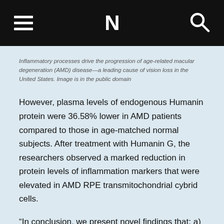N
Inflammatory processes drive the progression of age-related macular degeneration (AMD) disease—a leading cause of vision loss in the United States. Image is in the public domain
However, plasma levels of endogenous Humanin protein were 36.58% lower in AMD patients compared to those in age-matched normal subjects. After treatment with Humanin G, the researchers observed a marked reduction in protein levels of inflammation markers that were elevated in AMD RPE transmitochondrial cybrid cells.
“In conclusion, we present novel findings that: a) show reduced Humanin protein levels in AMD plasma vs. normal plasma; b) suggest the role of